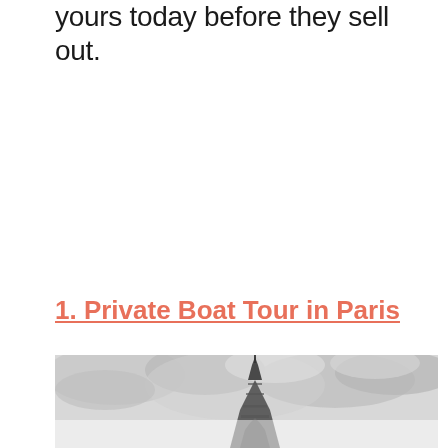yours today before they sell out.
1. Private Boat Tour in Paris
[Figure (photo): Black and white photograph of the Eiffel Tower against a cloudy sky, cropped to show upper portion, with a faint reflection visible below]